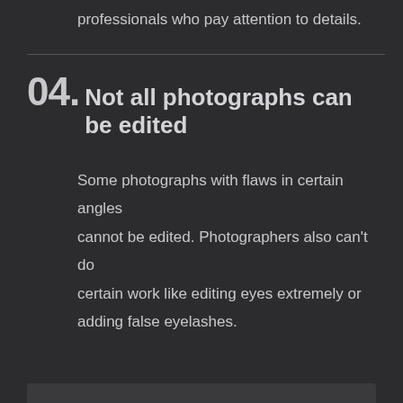professionals who pay attention to details.
04. Not all photographs can be edited
Some photographs with flaws in certain angles cannot be edited. Photographers also can't do certain work like editing eyes extremely or adding false eyelashes.